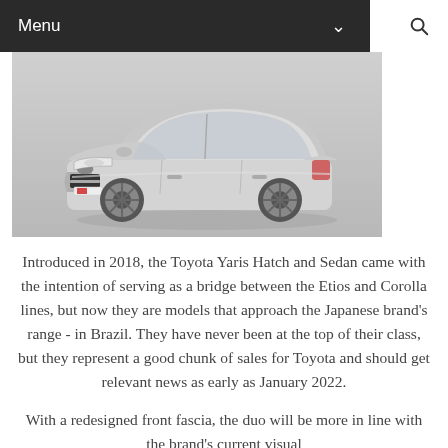Menu
[Figure (photo): A silver Toyota Yaris sedan photographed from a front three-quarter angle against a gray background.]
Introduced in 2018, the Toyota Yaris Hatch and Sedan came with the intention of serving as a bridge between the Etios and Corolla lines, but now they are models that approach the Japanese brand's range - in Brazil. They have never been at the top of their class, but they represent a good chunk of sales for Toyota and should get relevant news as early as January 2022.
With a redesigned front fascia, the duo will be more in line with the brand's current visual